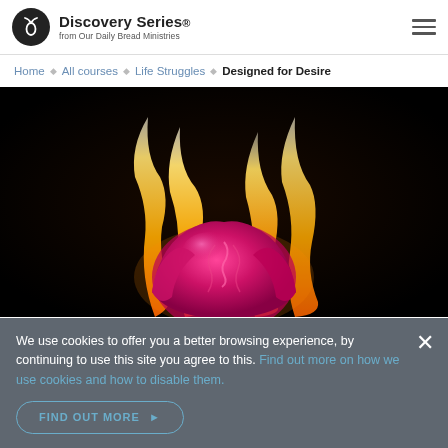Discovery Series. from Our Daily Bread Ministries
Home · All courses · Life Struggles · Designed for Desire
[Figure (photo): A vibrant pink/magenta rose with large orange and yellow flames rising behind it against a black background.]
We use cookies to offer you a better browsing experience, by continuing to use this site you agree to this. Find out more on how we use cookies and how to disable them.
FIND OUT MORE ▶